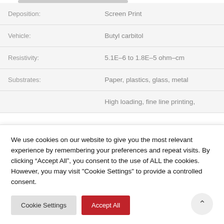| Property | Value |
| --- | --- |
| Deposition: | Screen Print |
| Vehicle: | Butyl carbitol |
| Resistivity: | 5.1E–6 to 1.8E–5 ohm–cm |
| Substrates: | Paper, plastics, glass, metal |
|  | High loading, fine line printing, |
We use cookies on our website to give you the most relevant experience by remembering your preferences and repeat visits. By clicking "Accept All", you consent to the use of ALL the cookies. However, you may visit "Cookie Settings" to provide a controlled consent.
Cookie Settings | Accept All